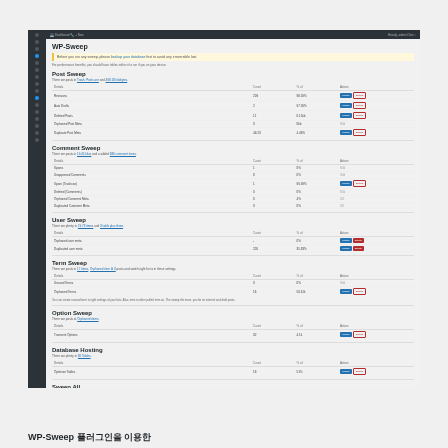WP-Sweep
Before you run any sweep, please backup your database first to avoid any irreversible lost. For cleanup to take place, you need to have admin role on your device.
Post Sweep
There are posts in Trash. Posts are 498.18 kilobytes.
| Details | Count | % of | Action |
| --- | --- | --- | --- |
| Revisions | 209 | 98.59% | Sweep | Details |
| Auto Drafts | 2 | 97.59% | Sweep | Details |
| Deleted Posts | 11 | 0.11kb | Sweep | Details |
| Orphaned Post Meta | 0 | 0kb | N/A |
| Duplicate Post Meta | 44/13 | 4.46% | Sweep | Details |
Comment Sweep
There are posts in 19.45 kilos and ranked 686 comment times.
| Details | Count | % of | Action |
| --- | --- | --- | --- |
| Spams | 1 | 0% | N/A |
| Unapproved Comments | 0 | 0% | N/A |
| Spam (Trashcan) | 1 | 99.99% | Sweep | Details |
| Deleted (Comment-s) | 0 | 0% | N/A |
| Orphaned Comment Meta | 0 | 4% | 0/0 |
| Duplicated Comment Meta | 0 | 0% | 0/0 |
User Sweep
There are plenty in 19.73 items and 3 table plus three.
| Details | Count | % of | Action |
| --- | --- | --- | --- |
| Details | Count% | % of | Action |
| Orphaned user meta | - | 0% | Sweep | Delete |
| Duplicated user meta | 205 | 35.33% | Sweep | Delete |
Term Sweep
There are posts in 17 items, Orphaned item Id 0 posts and switch right for to in these settings.
| Details | Count | % of | Action |
| --- | --- | --- | --- |
| Unused Terms | 0 | 0% | N/A |
| Orphaned Terms | 16 | 50.41k | Sweep | Details |
You can create unused term in right settings of your lists. Also, term to other pulled term on. The sweep the term, you for no internet and draft posts.
Option Sweep
There are posts in Orphaned items.
| Details | Count | % of | Action |
| --- | --- | --- | --- |
| Details | Count | % of | Action |
| Transient Options | 32 | 4.1k | Sweep | Details |
Database Hosting
There are plenty in 30 Tables.
| Details | Count | % of | Action |
| --- | --- | --- | --- |
| Optimize Tables | 18 | 51% | Sweep | Details |
Sweep All
Click this once to sweep/one to help a long to let your database tab filter in online be use. Only swoop to clear you do not have any data more.
Sweep All (button)
WP-Sweep 플러그인을 이용한